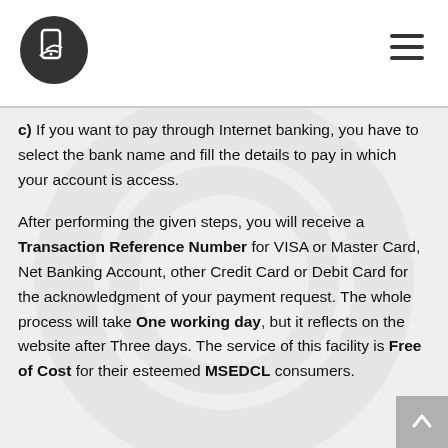c) If you want to pay through Internet banking, you have to select the bank name and fill the details to pay in which your account is access.
After performing the given steps, you will receive a Transaction Reference Number for VISA or Master Card, Net Banking Account, other Credit Card or Debit Card for the acknowledgment of your payment request. The whole process will take One working day, but it reflects on the website after Three days. The service of this facility is Free of Cost for their esteemed MSEDCL consumers.